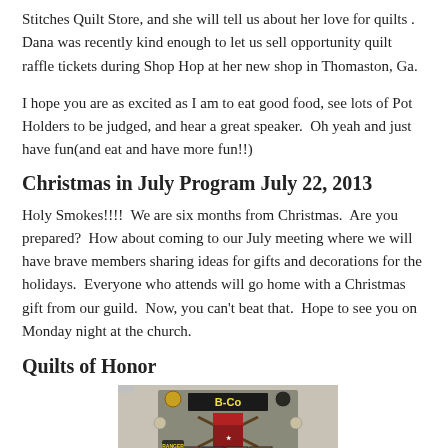Stitches Quilt Store, and she will tell us about her love for quilts . Dana was recently kind enough to let us sell opportunity quilt raffle tickets during Shop Hop at her new shop in Thomaston, Ga.
I hope you are as excited as I am to eat good food, see lots of Pot Holders to be judged, and hear a great speaker.  Oh yeah and just have fun(and eat and have more fun!!)
Christmas in July Program July 22, 2013
Holy Smokes!!!!  We are six months from Christmas.  Are you prepared?  How about coming to our July meeting where we will have brave members sharing ideas for gifts and decorations for the holidays.  Everyone who attends will go home with a Christmas gift from our guild.  Now, you can't beat that.  Hope to see you on Monday night at the church.
Quilts of Honor
[Figure (photo): A photo showing two women standing in front of a military-themed quilt display with 'B-Co' text, rifles, flags, and military insignia patches visible on a wall.]